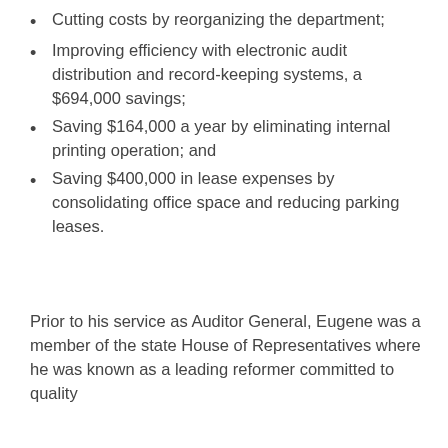Cutting costs by reorganizing the department;
Improving efficiency with electronic audit distribution and record-keeping systems, a $694,000 savings;
Saving $164,000 a year by eliminating internal printing operation; and
Saving $400,000 in lease expenses by consolidating office space and reducing parking leases.
Prior to his service as Auditor General, Eugene was a member of the state House of Representatives where he was known as a leading reformer committed to quality